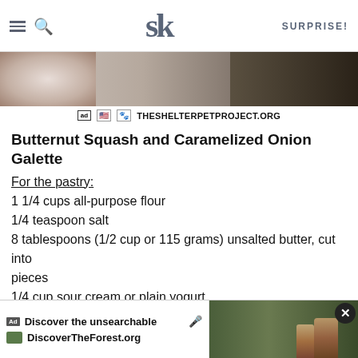SK  SURPRISE!
[Figure (photo): Banner advertisement for The Shelter Pet Project showing cats and a person with hashtag #AdoptPureLove]
ad  THESHELTERPETPROJECT.ORG
Butternut Squash and Caramelized Onion Galette
For the pastry:
1 1/4 cups all-purpose flour
1/4 teaspoon salt
8 tablespoons (1/2 cup or 115 grams) unsalted butter, cut into pieces
1/4 cup sour cream or plain yogurt
2 teaspoons fresh lemon juice
1/4 cu...
[Figure (screenshot): Bottom ad overlay: 'Discover the unsearchable' DiscoverTheForest.org with forest photo and close button]